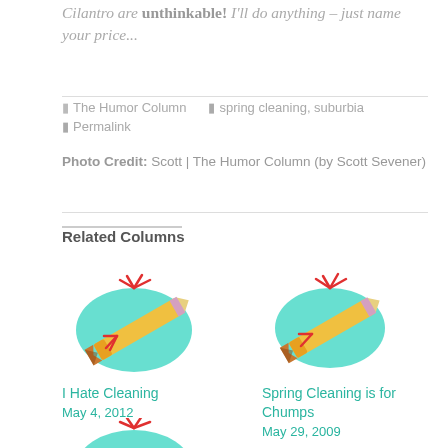Cilantro are unthinkable! I'll do anything – just name your price...
The Humor Column   spring cleaning, suburbia   Permalink
Photo Credit: Scott | The Humor Column (by Scott Sevener)
Related Columns
[Figure (illustration): Pencil illustration with teal splash and red sparks - I Hate Cleaning]
I Hate Cleaning
May 4, 2012
[Figure (illustration): Pencil illustration with teal splash and red sparks - Spring Cleaning is for Chumps]
Spring Cleaning is for Chumps
May 29, 2009
[Figure (illustration): Pencil illustration with teal splash and red sparks - third related column (partially visible)]